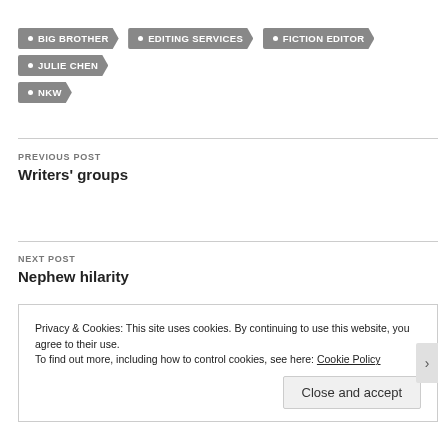BIG BROTHER
EDITING SERVICES
FICTION EDITOR
JULIE CHEN
NKW
PREVIOUS POST
Writers' groups
NEXT POST
Nephew hilarity
Privacy & Cookies: This site uses cookies. By continuing to use this website, you agree to their use.
To find out more, including how to control cookies, see here: Cookie Policy
Close and accept